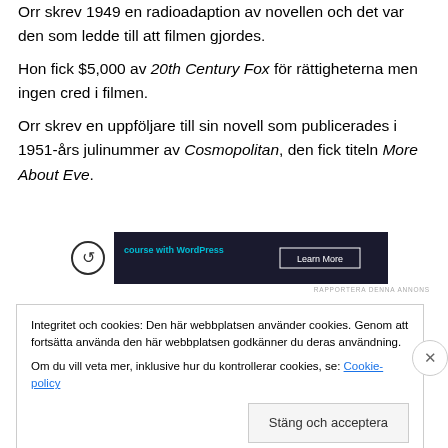Orr skrev 1949 en radioadaption av novellen och det var den som ledde till att filmen gjordes. Hon fick $5,000 av 20th Century Fox för rättigheterna men ingen cred i filmen. Orr skrev en uppföljare till sin novell som publicerades i 1951-års julinummer av Cosmopolitan, den fick titeln More About Eve.
[Figure (screenshot): Dark banner advertisement for a WordPress course with a Learn More button]
RAPPORTERA DENNA ANNONS
Integritet och cookies: Den här webbplatsen använder cookies. Genom att fortsätta använda den här webbplatsen godkänner du deras användning. Om du vill veta mer, inklusive hur du kontrollerar cookies, se: Cookie-policy
Stäng och acceptera